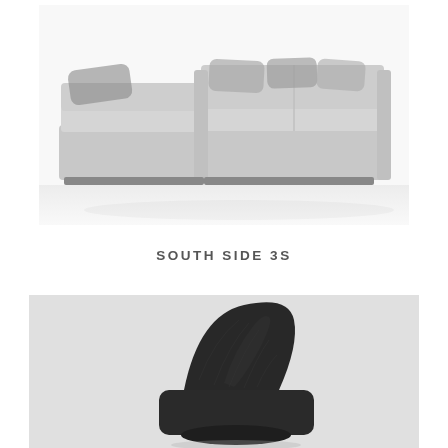[Figure (photo): L-shaped sectional sofa in light gray fabric with multiple throw pillows, photographed on white background with subtle reflection]
SOUTH SIDE 3S
[Figure (photo): Dark charcoal/black upholstered accent chair with curved back, photographed on light background, partial view]